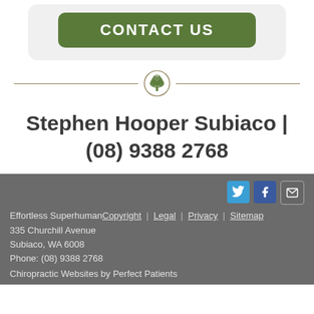[Figure (other): Green rounded button with bold white text 'CONTACT US' on a light grey rounded rectangle background]
[Figure (other): Horizontal decorative divider with a tree logo circle in the center]
Stephen Hooper Subiaco | (08) 9388 2768
Effortless Superhuman Copyright | Legal | Privacy | Sitemap
335 Churchill Avenue
Subiaco, WA 6008
Phone: (08) 9388 2768
Chiropractic Websites by Perfect Patients